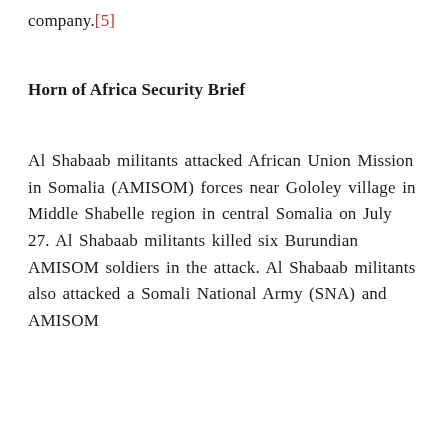company.[5]
Horn of Africa Security Brief
Al Shabaab militants attacked African Union Mission in Somalia (AMISOM) forces near Gololey village in Middle Shabelle region in central Somalia on July 27. Al Shabaab militants killed six Burundian AMISOM soldiers in the attack. Al Shabaab militants also attacked a Somali National Army (SNA) and AMISOM